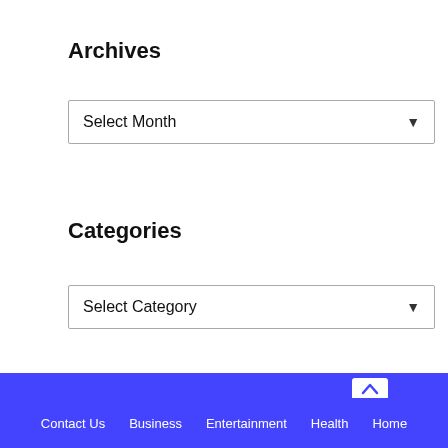Archives
[Figure (screenshot): Dropdown select box showing 'Select Month' with a chevron arrow on the right]
Categories
[Figure (screenshot): Dropdown select box showing 'Select Category' with a chevron arrow on the right]
Contact Us   Business   Entertainment   Health   Home